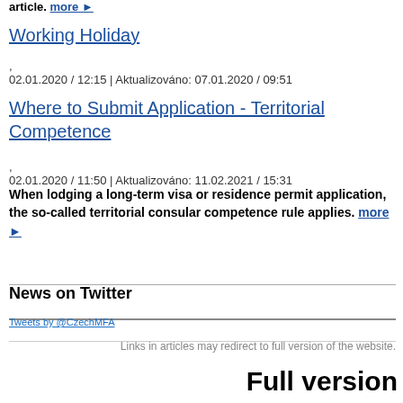article. more ▶
Working Holiday
02.01.2020 / 12:15 | Aktualizováno: 07.01.2020 / 09:51
Where to Submit Application - Territorial Competence
02.01.2020 / 11:50 | Aktualizováno: 11.02.2021 / 15:31
When lodging a long-term visa or residence permit application, the so-called territorial consular competence rule applies. more ▶
News on Twitter
Tweets by @CzechMFA
Links in articles may redirect to full version of the website.
Full version